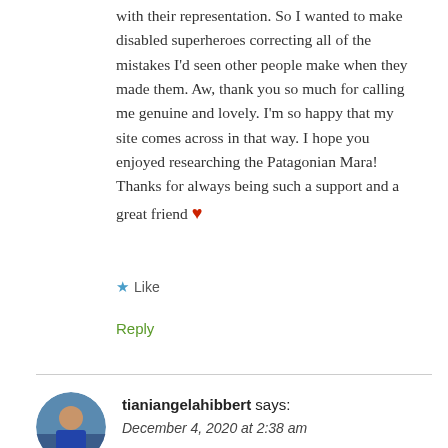with their representation. So I wanted to make disabled superheroes correcting all of the mistakes I'd seen other people make when they made them. Aw, thank you so much for calling me genuine and lovely. I'm so happy that my site comes across in that way. I hope you enjoyed researching the Patagonian Mara! Thanks for always being such a support and a great friend ❤
★ Like
Reply
tianiangelahibbert says:
December 4, 2020 at 2:38 am